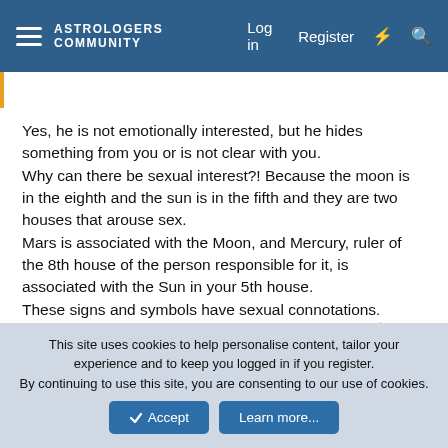ASTROLOGERS COMMUNITY  Log in  Register
Yes, he is not emotionally interested, but he hides something from you or is not clear with you.
Why can there be sexual interest?! Because the moon is in the eighth and the sun is in the fifth and they are two houses that arouse sex.
Mars is associated with the Moon, and Mercury, ruler of the 8th house of the person responsible for it, is associated with the Sun in your 5th house.
These signs and symbols have sexual connotations.
↩ Reply
Ausamalak
This site uses cookies to help personalise content, tailor your experience and to keep you logged in if you register.
By continuing to use this site, you are consenting to our use of cookies.